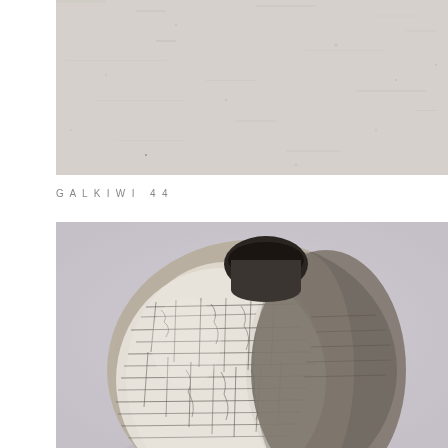[Figure (photo): Close-up photograph of a light grey/beige textured concrete or stone wall surface]
GALKIWI 44
[Figure (photo): Photograph of a round ceramic vase with crackle glaze texture — white cracked pattern on the left side blending into dark grey rough texture on the right, with a dark opening at the top, set against a light lavender-grey background]